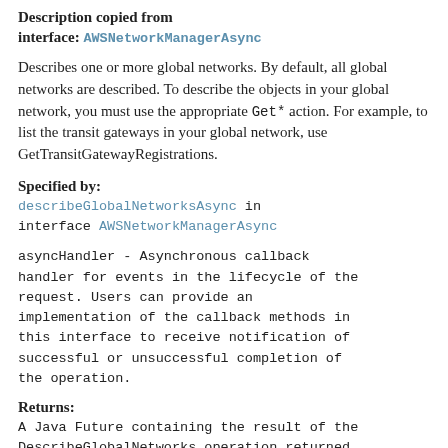Description copied from
interface: AWSNetworkManagerAsync
Describes one or more global networks. By default, all global networks are described. To describe the objects in your global network, you must use the appropriate Get* action. For example, to list the transit gateways in your global network, use GetTransitGatewayRegistrations.
Specified by:
describeGlobalNetworksAsync in interface AWSNetworkManagerAsync
asyncHandler - Asynchronous callback handler for events in the lifecycle of the request. Users can provide an implementation of the callback methods in this interface to receive notification of successful or unsuccessful completion of the operation.
Returns:
A Java Future containing the result of the DescribeGlobalNetworks operation returned by the service.